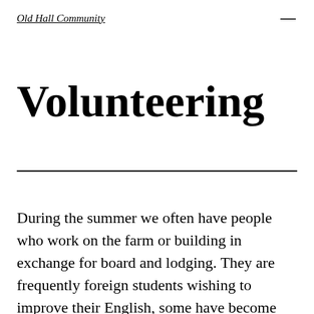Old Hall Community
Volunteering
During the summer we often have people who work on the farm or building in exchange for board and lodging. They are frequently foreign students wishing to improve their English, some have become long-term friends of the community. We